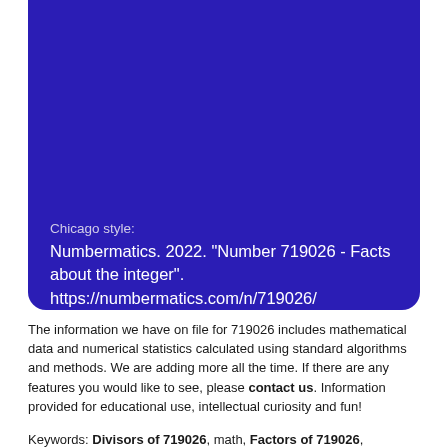[Figure (other): Blue rounded rectangle banner with Chicago style citation for Numbermatics number 719026]
Chicago style:
Numbermatics. 2022. "Number 719026 - Facts about the integer". https://numbermatics.com/n/719026/
The information we have on file for 719026 includes mathematical data and numerical statistics calculated using standard algorithms and methods. We are adding more all the time. If there are any features you would like to see, please contact us. Information provided for educational use, intellectual curiosity and fun!
Keywords: Divisors of 719026, math, Factors of 719026, curriculum, school, college, exams, university, Prime factorization of 719026,